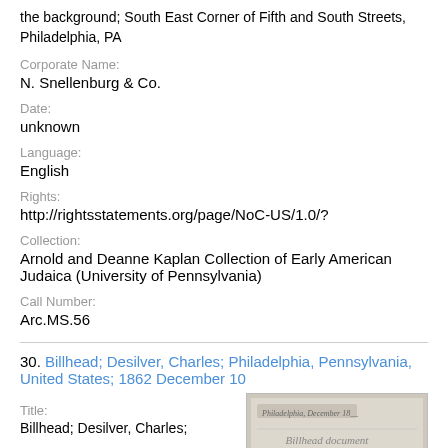the background; South East Corner of Fifth and South Streets, Philadelphia, PA
Corporate Name:
N. Snellenburg & Co.
Date:
unknown
Language:
English
Rights:
http://rightsstatements.org/page/NoC-US/1.0/?
Collection:
Arnold and Deanne Kaplan Collection of Early American Judaica (University of Pennsylvania)
Call Number:
Arc.MS.56
30. Billhead; Desilver, Charles; Philadelphia, Pennsylvania, United States; 1862 December 10
Title:
Billhead; Desilver, Charles;
[Figure (photo): Thumbnail image of a historical billhead document with cursive text, light beige/gray background]